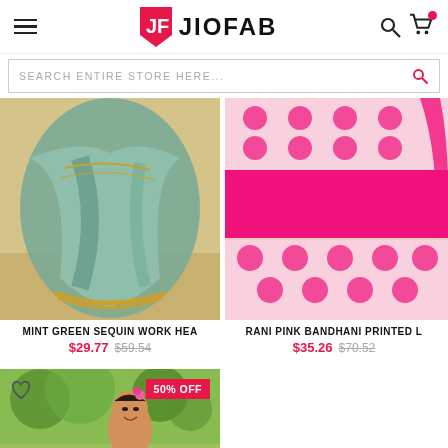JIOFAB
SEARCH ENTIRE STORE HERE...
[Figure (photo): Mint green sequin work heavy dupatta draped garment, lower half visible against yellow wall and stone floor]
[Figure (photo): Rani pink bandhani printed lehenga with white and pink pattern, pink solid tier, and pink dupatta]
MINT GREEN SEQUIN WORK HEA
$29.77 $59.54
RANI PINK BANDHANI PRINTED L
$35.26 $70.52
[Figure (photo): Woman wearing Indian ethnic dress in garden setting with pink flower in hair, 50% OFF badge shown]